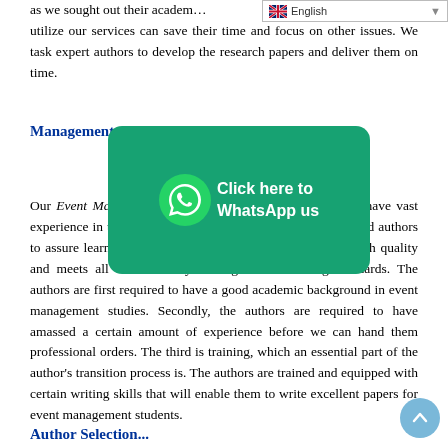[Figure (screenshot): Language selector bar showing English flag and 'English' text]
as we sought out their academic ... t utilize our services can save their time and focus on other issues. We task expert authors to develop the research papers and deliver them on time.
Management ... thors
[Figure (infographic): Green WhatsApp button overlay with phone icon and text 'Click here to WhatsApp us']
Our Event Man... ered by expert authors who have vast experience in the writing industry. We employ highly qualified authors to assure learners that each research paper we write is of high quality and meets all the necessary writing and formatting standards. The authors are first required to have a good academic background in event management studies. Secondly, the authors are required to have amassed a certain amount of experience before we can hand them professional orders. The third is training, which an essential part of the author's transition process is. The authors are trained and equipped with certain writing skills that will enable them to write excellent papers for event management students.
Author Selection...